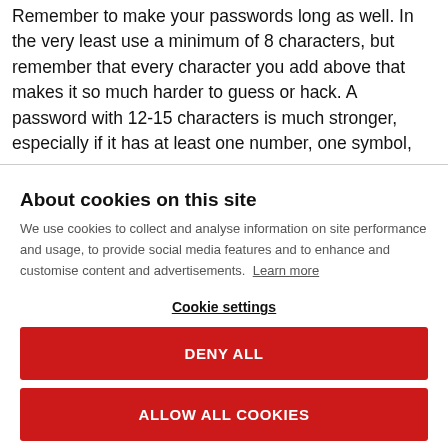Remember to make your passwords long as well. In the very least use a minimum of 8 characters, but remember that every character you add above that makes it so much harder to guess or hack. A password with 12-15 characters is much stronger, especially if it has at least one number, one symbol,
About cookies on this site
We use cookies to collect and analyse information on site performance and usage, to provide social media features and to enhance and customise content and advertisements. Learn more
Cookie settings
DENY ALL
ALLOW ALL COOKIES